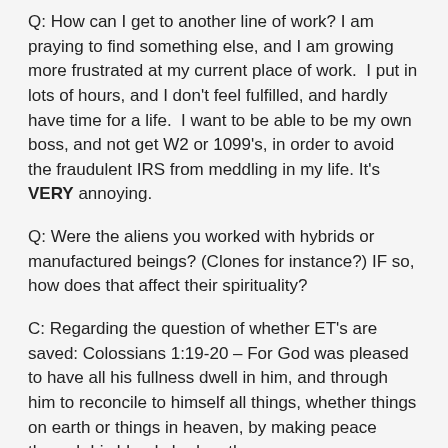Q: How can I get to another line of work? I am praying to find something else, and I am growing more frustrated at my current place of work.  I put in lots of hours, and I don't feel fulfilled, and hardly have time for a life.  I want to be able to be my own boss, and not get W2 or 1099's, in order to avoid the fraudulent IRS from meddling in my life. It's VERY annoying.
Q: Were the aliens you worked with hybrids or manufactured beings? (Clones for instance?) IF so, how does that affect their spirituality?
C: Regarding the question of whether ET's are saved: Colossians 1:19-20 – For God was pleased to have all his fullness dwell in him, and through him to reconcile to himself all things, whether things on earth or things in heaven, by making peace through his blood,shed on the cross.